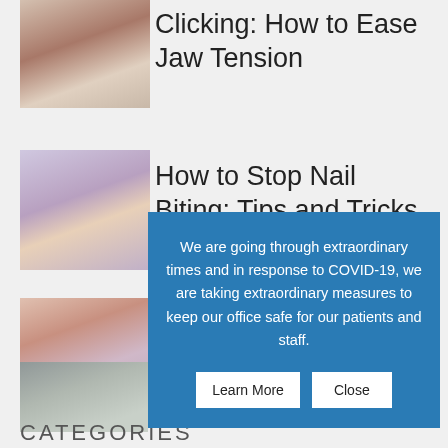Clicking: How to Ease Jaw Tension
[Figure (photo): Person getting jaw examined]
How to Stop Nail Biting: Tips and Tricks
[Figure (photo): Person biting nails]
What Causes Canker
[Figure (photo): Person with mouth open being examined]
[Figure (photo): Person sneezing]
We are going through extraordinary times and in response to COVID-19, we are taking extraordinary measures to keep our office safe for our patients and staff.
CATEGORIES